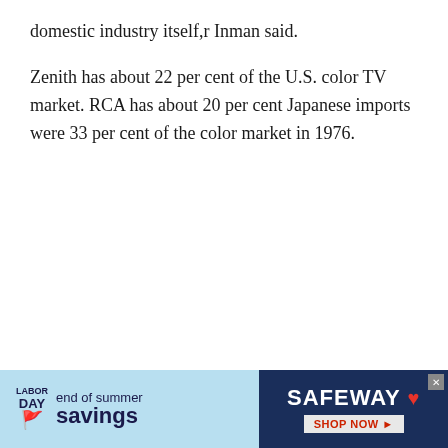domestic industry itself,r Inman said.
Zenith has about 22 per cent of the U.S. color TV market. RCA has about 20 per cent Japanese imports were 33 per cent of the color market in 1976.
[Figure (other): Advertisement banner for Safeway 'Labor Day end of summer savings' promotion with blue background on left and dark navy Safeway branding on right with 'Shop Now' button]